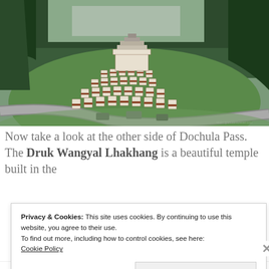[Figure (photo): Aerial view of the 108 chortens (stupas) at Dochula Pass in Bhutan, arranged in terraced rows on a green hillside, with dense pine forest in the background and a road with vehicles below. A white structure with a tiered roof sits at the top of the formation.]
Now take a look at the other side of Dochula Pass. The Druk Wangyal Lhakhang is a beautiful temple built in the
Privacy & Cookies: This site uses cookies. By continuing to use this website, you agree to their use.
To find out more, including how to control cookies, see here:
Cookie Policy
Close and accept